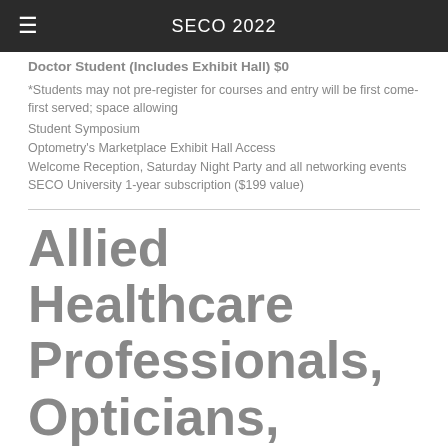SECO 2022
Doctor Student (Includes Exhibit Hall) $0
*Students may not pre-register for courses and entry will be first come-first served; space allowing
Student Symposium
Optometry's Marketplace Exhibit Hall Access
Welcome Reception, Saturday Night Party and all networking events
SECO University 1-year subscription ($199 value)
Allied Healthcare Professionals, Opticians, Paraoptometrics,